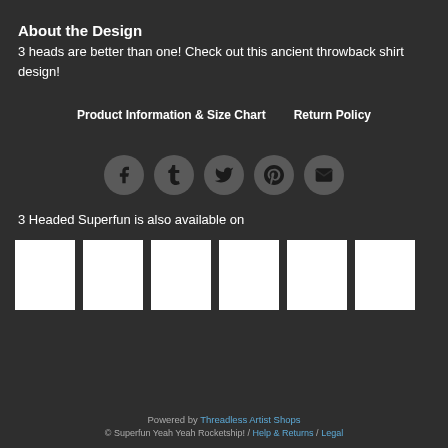About the Design
3 heads are better than one! Check out this ancient throwback shirt design!
Product Information & Size Chart    Return Policy
[Figure (infographic): Row of 5 circular social media share icons: Facebook, Tumblr, Twitter, Pinterest, Email]
3 Headed Superfun is also available on
[Figure (infographic): Row of 6 white product thumbnail placeholder images]
Powered by Threadless Artist Shops © Superfun Yeah Yeah Rocketship! / Help & Returns / Legal